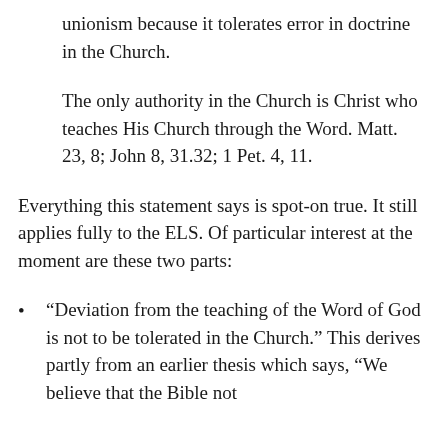unionism because it tolerates error in doctrine in the Church.
The only authority in the Church is Christ who teaches His Church through the Word. Matt. 23, 8; John 8, 31.32; 1 Pet. 4, 11.
Everything this statement says is spot-on true. It still applies fully to the ELS. Of particular interest at the moment are these two parts:
“Deviation from the teaching of the Word of God is not to be tolerated in the Church.” This derives partly from an earlier thesis which says, “We believe that the Bible not